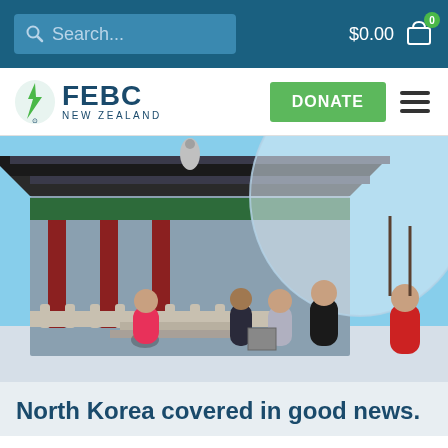Search... $0.00 0
[Figure (logo): FEBC New Zealand logo with lightning bolt icon, green DONATE button, and hamburger menu icon]
[Figure (photo): People launching a large transparent balloon near a traditional Korean pavilion with red columns and tiled roof, winter setting with snow on the ground]
North Korea covered in good news.